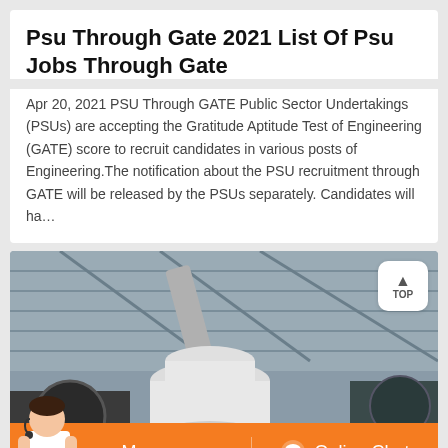Psu Through Gate 2021 List Of Psu Jobs Through Gate
Apr 20, 2021 PSU Through GATE Public Sector Undertakings (PSUs) are accepting the Gratitude Aptitude Test of Engineering (GATE) score to recruit candidates in various posts of Engineering.The notification about the PSU recruitment through GATE will be released by the PSUs separately. Candidates will ha…
[Figure (photo): Industrial facility interior showing large machinery including a cone crusher or similar equipment with pipes and metal roof structure visible]